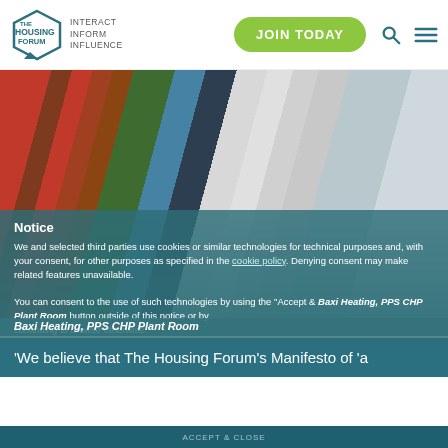The Housing Forum | INTERACT INFORM INFLUENCE | JOIN TODAY
[Figure (photo): Baxi Heating, PPS CHP Plant Room — industrial heating plant room with red cylindrical tank, blue expansion vessel, copper pipework, multiple white boiler units in a row]
Notice

We and selected third parties use cookies or similar technologies for technical purposes and, with your consent, for other purposes as specified in the cookie policy. Denying consent may make related features unavailable.

You can consent to the use of such technologies by using the "Accept & Close" button or any other button outside of this notice or by continuing to browse otherwise.
Baxi Heating, PPS CHP Plant Room
'We believe that The Housing Forum's Manifesto of 'a